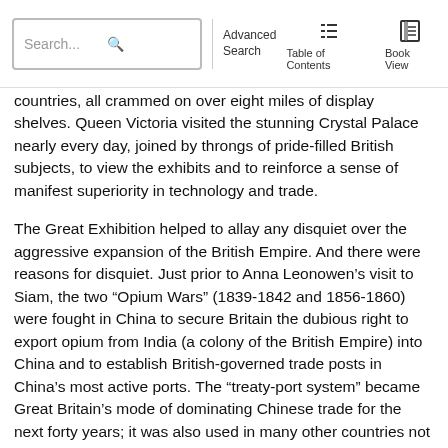Search... Advanced Search Table of Contents Book View
countries, all crammed on over eight miles of display shelves. Queen Victoria visited the stunning Crystal Palace nearly every day, joined by throngs of pride-filled British subjects, to view the exhibits and to reinforce a sense of manifest superiority in technology and trade.
The Great Exhibition helped to allay any disquiet over the aggressive expansion of the British Empire. And there were reasons for disquiet. Just prior to Anna Leonowen’s visit to Siam, the two “Opium Wars” (1839-1842 and 1856-1860) were fought in China to secure Britain the dubious right to export opium from India (a colony of the British Empire) into China and to establish British-governed trade posts in China’s most active ports. The “treaty-port system” became Great Britain’s mode of dominating Chinese trade for the next forty years; it was also used in many other countries not officially colonized into the Empire. In 1855, Siam ceded to